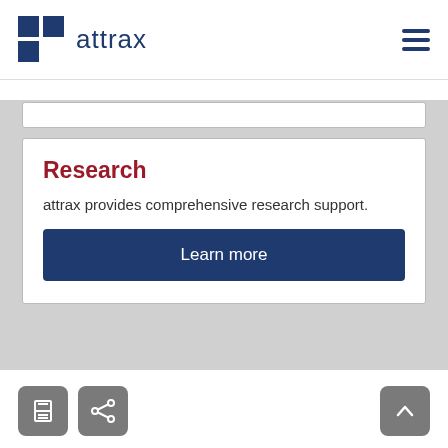attrax
Research
attrax provides comprehensive research support.
Learn more